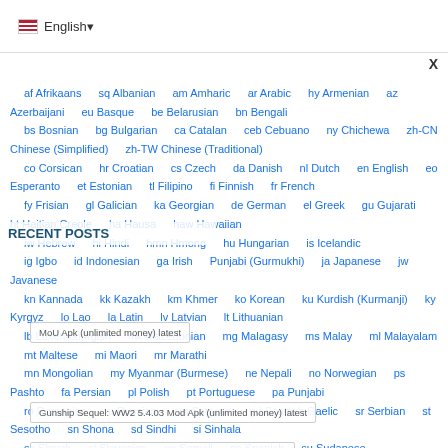🇺🇸 English▾
X
af Afrikaans sq Albanian am Amharic ar Arabic hy Armenian az Azerbaijani eu Basque be Belarusian bn Bengali bs Bosnian bg Bulgarian ca Catalan ceb Cebuano ny Chichewa zh-CN Chinese (Simplified) zh-TW Chinese (Traditional) co Corsican hr Croatian cs Czech da Danish nl Dutch en English eo Esperanto et Estonian tl Filipino fi Finnish fr French fy Frisian gl Galician ka Georgian de German el Greek gu Gujarati ht Haitian Creole ha Hausa haw Hawaiian iw Hebrew hi Hindi hmn Hmong hu Hungarian is Icelandic ig Igbo id Indonesian ga Irish Punjabi (Gurmukhi) ja Japanese jw Javanese kn Kannada kk Kazakh km Khmer ko Korean ku Kurdish (Kurmanji) ky Kyrgyz lo Lao la Latin lv Latvian lt Lithuanian lb Luxembourgish mk Macedonian mg Malagasy ms Malay ml Malayalam mt Maltese mi Maori mr Marathi mn Mongolian my Myanmar (Burmese) ne Nepali no Norwegian ps Pashto fa Persian pl Polish pt Portuguese pa Punjabi ro Romanian ru Russian sm Samoan gd Scottish Gaelic sr Serbian st Sesotho sn Shona sd Sindhi si Sinhala sk Slovak sl Slovenian so Somali es Spanish su Sudanese sw Swahili sv Swedish tg Tajik ta Tamil te Telugu th Thai tr Turkish uk Ukrainian ur Urdu uz Uzbek vi Vietnamese
RECENT POSTS
MoU Apk (unlimited money) latest
ITING SOULS 14 Mod Apk (unlimited money) latest
Gunship Sequel: WW2 5.4.03 Mod Apk (unlimited money) latest
DanMachi- MEMORIA FREESE 13.5.1 Mod Apk (unlimited money) latest
ARCHIVES